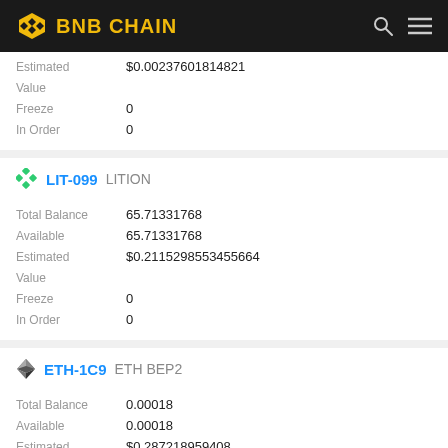BNB CHAIN
Estimated Value: $0.00237601814821
Freeze: 0
In Order: 0
LIT-099 LITION
Total Balance: 65.71331768
Available: 65.71331768
Estimated Value: $0.2115298553455664
Freeze: 0
In Order: 0
ETH-1C9 ETH BEP2
Total Balance: 0.00018
Available: 0.00018
Estimated Value: $0.287218959408
Freeze: 0
In Order: 0